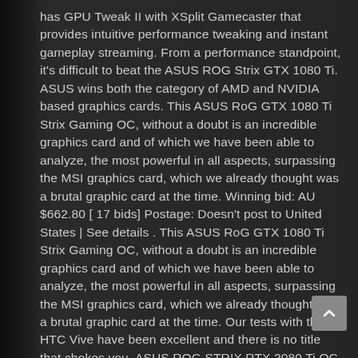has GPU Tweak II with XSplit Gamecaster that provides intuitive performance tweaking and instant gameplay streaming. From a performance standpoint, it's difficult to beat the ASUS ROG Strix GTX 1080 Ti. ASUS wins both the category of AMD and NVIDIA based graphics cards. This ASUS RoG GTX 1080 Ti Strix Gaming OC, without a doubt is an incredible graphics card and of which we have been able to analyze, the most powerful in all aspects, surpassing the MSI graphics card, which we already thought was a brutal graphic card at the time. Winning bid: AU $662.80 [ 17 bids] Postage: Doesn't post to United States | See details . This ASUS RoG GTX 1080 Ti Strix Gaming OC, without a doubt is an incredible graphics card and of which we have been able to analyze, the most powerful in all aspects, surpassing the MSI graphics card, which we already thought was a brutal graphic card at the time. Our tests with the HTC Vive have been excellent and there is no title that chokes you. ASUS ROG STRIX RTX 2080 Ti OC offers solid cooling performance combined with dual BIOS makes it dream card for